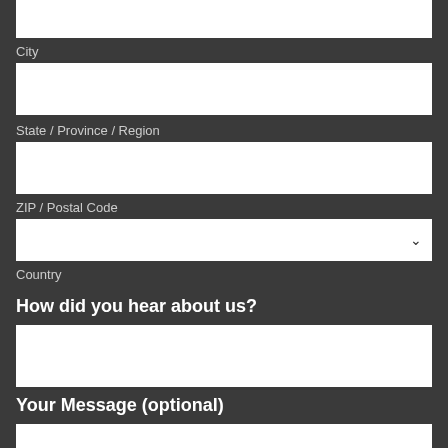[Figure (screenshot): Partial white input field at top of page (cut off from previous section)]
City
[Figure (screenshot): White text input field for City]
State / Province / Region
[Figure (screenshot): White text input field for State / Province / Region]
ZIP / Postal Code
[Figure (screenshot): White dropdown select field for Country with chevron arrow]
Country
How did you hear about us?
[Figure (screenshot): White text input field for How did you hear about us]
Your Message (optional)
[Figure (screenshot): White text area for Your Message (partial, cut off at bottom)]